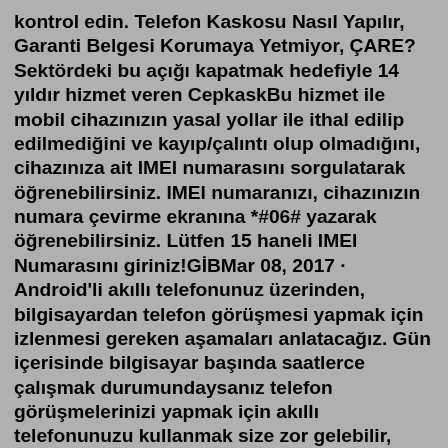kontrol edin. Telefon Kaskosu Nasıl Yapılır, Garanti Belgesi Korumaya Yetmiyor, ÇARE? Sektördeki bu açığı kapatmak hedefiyle 14 yıldır hizmet veren CepkaskBu hizmet ile mobil cihazınızın yasal yollar ile ithal edilip edilmediğini ve kayıp/çalıntı olup olmadığını, cihazınıza ait IMEI numarasını sorgulatarak öğrenebilirsiniz. IMEI numaranızı, cihazınızın numara çevirme ekranına *#06# yazarak öğrenebilirsiniz. Lütfen 15 haneli IMEI Numarasını giriniz!GİBMar 08, 2017 · Android'li akıllı telefonunuz üzerinden, bilgisayardan telefon görüşmesi yapmak için izlenmesi gereken aşamaları anlatacağız. Gün içerisinde bilgisayar başında saatlerce çalışmak durumundaysanız telefon görüşmelerinizi yapmak için akıllı telefonunuzu kullanmak size zor gelebilir, zaman kaybettirebilir. Android'li akıllı telefona bağlantı kurarak bilgisayardan ... iPhone Kasko şikayetleri için tıklayın! iPhone yorumları ve iPhone Kasko şikayetleri sikayetvar.com'da! You can visit to view daha home tutmaz Media Members da en great for d